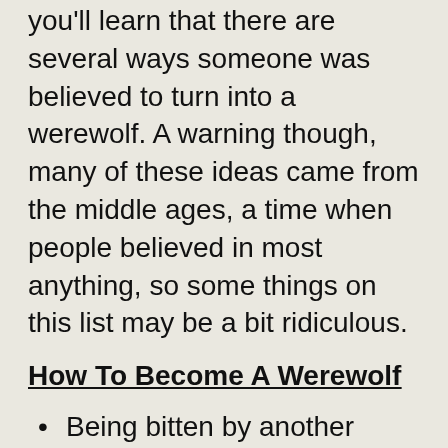you'll learn that there are several ways someone was believed to turn into a werewolf. A warning though, many of these ideas came from the middle ages, a time when people believed in most anything, so some things on this list may be a bit ridiculous.
How To Become A Werewolf
Being bitten by another werewolf
Being scratched or clawed by another werewolf
Selling your soul to the devil
Wearing an enchanted belt made of wolf